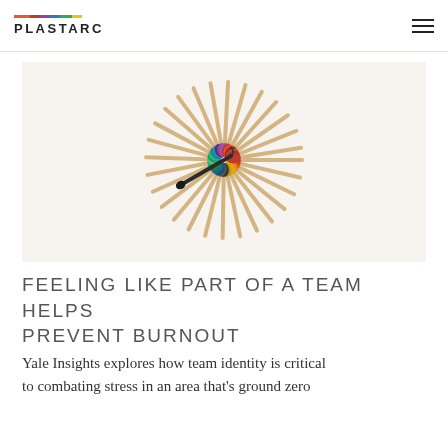PLASTARC
[Figure (photo): Circular arrangement of colorful matchsticks fanned out in a ring on a white background, with one burnt black match lying in the center, suggesting burnout.]
FEELING LIKE PART OF A TEAM HELPS PREVENT BURNOUT
Yale Insights explores how team identity is critical to combating stress in an area that's ground zero